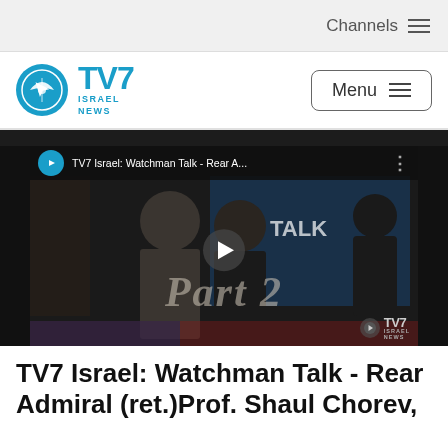Channels
[Figure (logo): TV7 Israel News logo with teal circle and airplane icon]
Menu
[Figure (screenshot): YouTube-style video thumbnail showing two men standing in a TV studio. Overlay text reads 'Part 2'. Video title bar shows 'TV7 Israel: Watchman Talk - Rear A...' with TV7 logo circle. TV7 Israel News watermark in bottom right corner. Play button in center.]
TV7 Israel: Watchman Talk - Rear Admiral (ret.)Prof. Shaul Chorev,